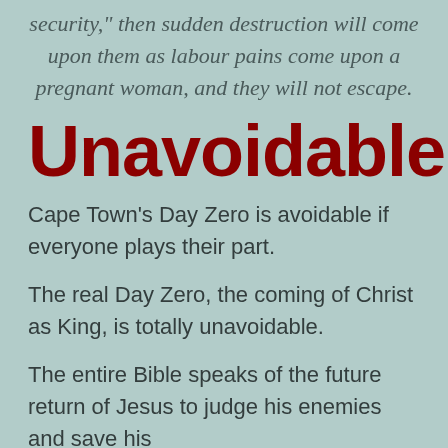security," then sudden destruction will come upon them as labour pains come upon a pregnant woman, and they will not escape.
Unavoidable
Cape Town's Day Zero is avoidable if everyone plays their part.
The real Day Zero, the coming of Christ as King, is totally unavoidable.
The entire Bible speaks of the future return of Jesus to judge his enemies and save his